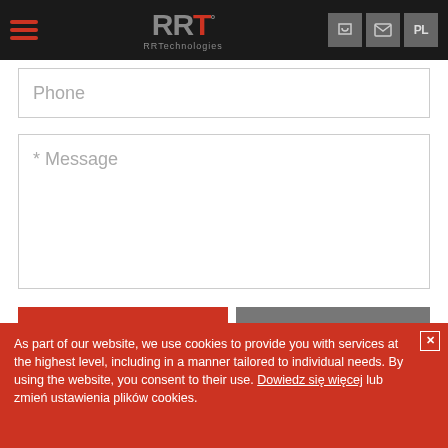[Figure (screenshot): RRTechnologies website header with hamburger menu, RRT logo, phone icon, email icon, and PL language button on black background]
Phone
* Message
Send
Delete
[Figure (other): reCAPTCHA widget with checkbox 'I'm not a robot', reCAPTCHA logo, Privacy and Terms links]
As part of our website, we use cookies to provide you with services at the highest level, including in a manner tailored to individual needs. By using the website, you consent to their use. Dowiedz się więcej lub zmień ustawienia plików cookies.